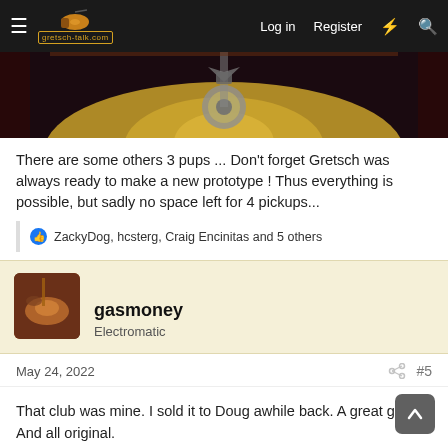gretsch-talk.com — Log in  Register
[Figure (photo): Close-up photo of a Gretsch guitar body showing the amber/gold finish and tailpiece detail against a dark background]
There are some others 3 pups ... Don't forget Gretsch was always ready to make a new prototype ! Thus everything is possible, but sadly no space left for 4 pickups...
👍 ZackyDog, hcsterg, Craig Encinitas and 5 others
gasmoney
Electromatic
May 24, 2022    #5
That club was mine. I sold it to Doug awhile back. A great guitar. And all original.